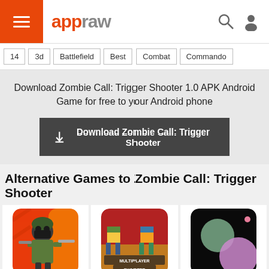appraw
14
3d
Battlefield
Best
Combat
Commando
Download Zombie Call: Trigger Shooter 1.0 APK Android Game for free to your Android phone
Download Zombie Call: Trigger Shooter
Alternative Games to Zombie Call: Trigger Shooter
[Figure (illustration): Doodle Army 2 game icon showing a cartoon soldier with a gun on red background]
Doodle Army 2 : Mini Militi...
[Figure (illustration): Pixel Gun 3D game icon showing two pixel characters with guns, labeled Multiplayer Shooter]
Pixel Gun 3D
[Figure (illustration): Nebulous game icon showing colored circles on black background]
Nebulous